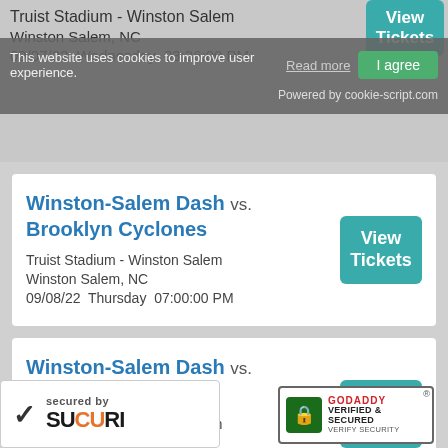Truist Stadium - Winston Salem
Winston Salem, NC
09/07/22  Wednesday  03:36:00 PM
This website uses cookies to improve user experience.
Read more  I agree  Powered by cookie-script.com
Winston-Salem Dash vs. Brooklyn Cyclones
Truist Stadium - Winston Salem
Winston Salem, NC
09/08/22  Thursday  07:00:00 PM
View Tickets
Winston-Salem Dash vs. Brooklyn Cyclones
Truist Stadium - Winston Salem
Winston Salem, NC
09/09/22  Friday  07:00:00 PM
View Tickets
Dash vs.
Brooklyn Cyclones
[Figure (logo): Sucuri secured by badge with checkmark]
[Figure (logo): GoDaddy Verified & Secured badge]